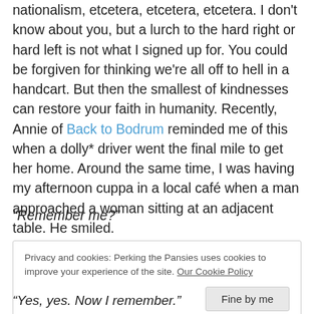nationalism, etcetera, etcetera, etcetera. I don't know about you, but a lurch to the hard right or hard left is not what I signed up for. You could be forgiven for thinking we're all off to hell in a handcart. But then the smallest of kindnesses can restore your faith in humanity. Recently, Annie of Back to Bodrum reminded me of this when a dolly* driver went the final mile to get her home. Around the same time, I was having my afternoon cuppa in a local café when a man approached a woman sitting at an adjacent table. He smiled.
“Remember me?”
Privacy and cookies: Perking the Pansies uses cookies to improve your experience of the site. Our Cookie Policy
“Yes, yes. Now I remember.”